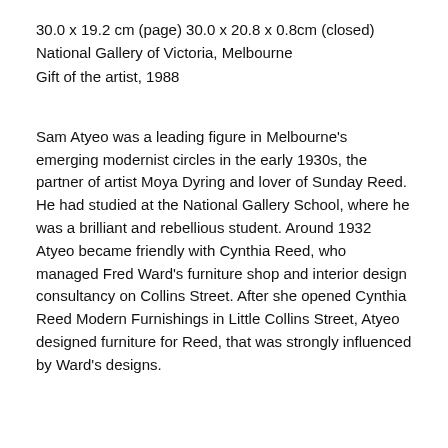30.0 x 19.2 cm (page) 30.0 x 20.8 x 0.8cm (closed)
National Gallery of Victoria, Melbourne
Gift of the artist, 1988
Sam Atyeo was a leading figure in Melbourne’s emerging modernist circles in the early 1930s, the partner of artist Moya Dyring and lover of Sunday Reed. He had studied at the National Gallery School, where he was a brilliant and rebellious student. Around 1932 Atyeo became friendly with Cynthia Reed, who managed Fred Ward's furniture shop and interior design consultancy on Collins Street. After she opened Cynthia Reed Modern Furnishings in Little Collins Street, Atyeo designed furniture for Reed, that was strongly influenced by Ward’s designs.